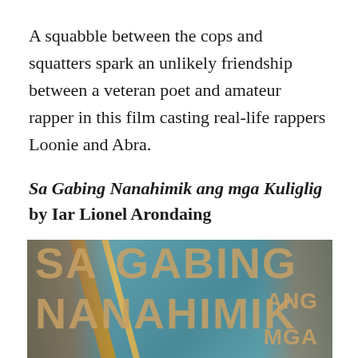A squabble between the cops and squatters spark an unlikely friendship between a veteran poet and amateur rapper in this film casting real-life rappers Loonie and Abra.
Sa Gabing Nanahimik ang mga Kuliglig by Iar Lionel Arondaing
[Figure (photo): Movie poster for 'Sa Gabing Nanahimik ang mga Kuliglig' showing large stylized text overlaid on a teal/blue background with figure silhouettes. Text reads 'SA GABING NANAHIMIK ANG MGA' in large bold letters.]